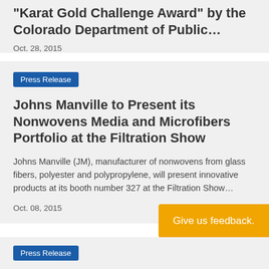Karat Gold Challenge Award" by the Colorado Department of Public…
Oct. 28, 2015
Press Release
Johns Manville to Present its Nonwovens Media and Microfibers Portfolio at the Filtration Show
Johns Manville (JM), manufacturer of nonwovens from glass fibers, polyester and polypropylene, will present innovative products at its booth number 327 at the Filtration Show…
Oct. 08, 2015
Give us feedback.
Press Release